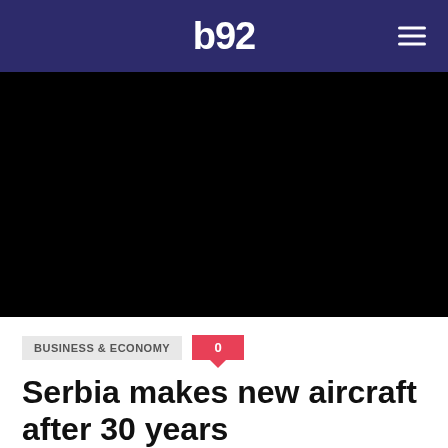b92
[Figure (photo): Black/dark hero image area, likely a video thumbnail or placeholder for an article image]
BUSINESS & ECONOMY
0
Serbia makes new aircraft after 30 years